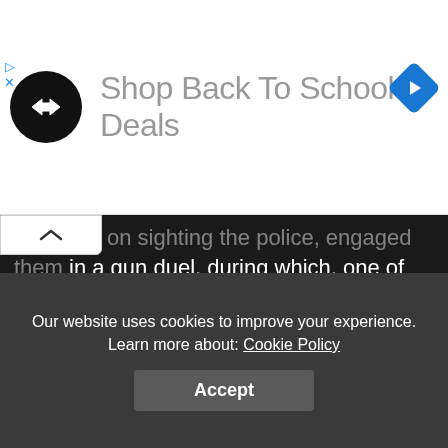[Figure (other): Advertisement banner with circular black logo containing a double-arrow symbol, text 'Shop Back To School Deals' in grey, and a blue diamond-shaped navigation arrow icon on the right.]
suspects on sighting the police, engaged them in a gun duel, during which, one of the hoodlums sustained bullet injuries while others escaped. One locally made gun, four live cartridges, and four expended cartridges were recovered. The injured suspect was taken to the Hospital where he died while receiving treatment. Manhunt for the fleeing members of the gang is ongoing.
[Figure (photo): Partial image of a scene, appears to be an outdoor photograph, partially visible at the bottom of the article area.]
Our website uses cookies to improve your experience. Learn more about: Cookie Policy
Accept